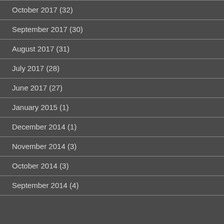October 2017 (32)
September 2017 (30)
August 2017 (31)
July 2017 (28)
June 2017 (27)
January 2015 (1)
December 2014 (1)
November 2014 (3)
October 2014 (3)
September 2014 (4)